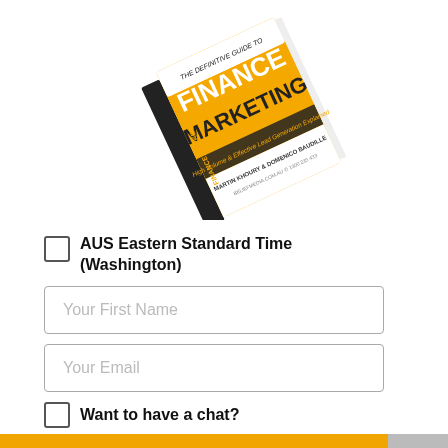[Figure (photo): A tilted book cover for 'Finance Marketing - High Volume & Effective Lead Generation Explained' by Martin Khoury & Domenico Baudille, beliefmedia.com.au. The cover is orange and white.]
AUS Eastern Standard Time (Washington)
Your First Name
Your Email
Want to have a chat?
Send Me the Finance Guide